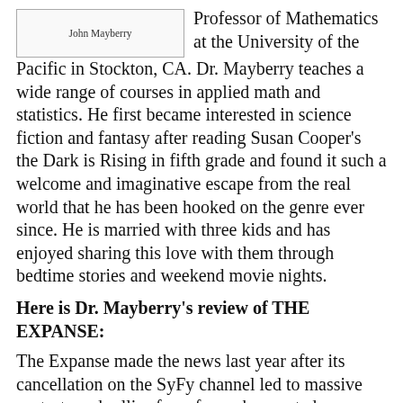[Figure (other): Photo placeholder box with caption 'John Mayberry']
Professor of Mathematics at the University of the Pacific in Stockton, CA. Dr. Mayberry teaches a wide range of courses in applied math and statistics. He first became interested in science fiction and fantasy after reading Susan Cooper's the Dark is Rising in fifth grade and found it such a welcome and imaginative escape from the real world that he has been hooked on the genre ever since. He is married with three kids and has enjoyed sharing this love with them through bedtime stories and weekend movie nights.
Here is Dr. Mayberry's review of THE EXPANSE:
The Expanse made the news last year after its cancellation on the SyFy channel led to massive protests and rallies from fans who wanted more. Their pleas were so convincing that Amazon picked up the show,